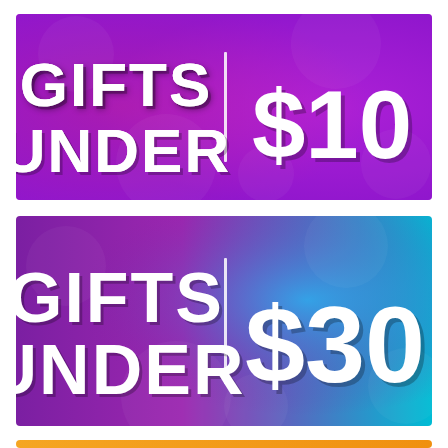[Figure (infographic): Gifts under $10 promotional banner with pink-to-purple gradient background and bold white text]
[Figure (infographic): Gifts under $30 promotional banner with purple-to-blue gradient background and bold white text]
[Figure (infographic): Partial orange/yellow gradient banner at the bottom edge of the page]